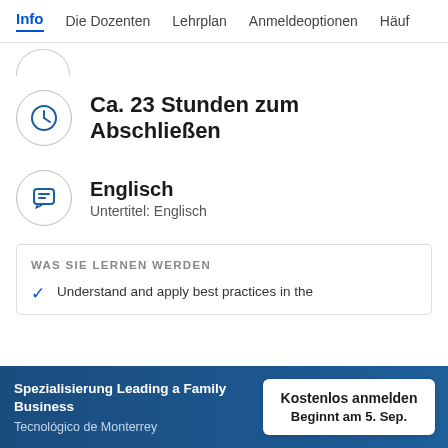Info   Die Dozenten   Lehrplan   Anmeldeoptionen   Häuf
Ca. 23 Stunden zum Abschließen
Englisch
Untertitel: Englisch
WAS SIE LERNEN WERDEN
Understand and apply best practices in the
Spezialisierung Leading a Family Business
Tecnológico de Monterrey
Kostenlos anmelden
Beginnt am 5. Sep.